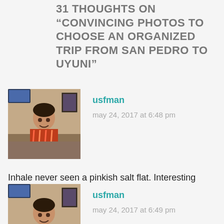31 THOUGHTS ON "CONVINCING PHOTOS TO CHOOSE AN ORGANIZED TRIP FROM SAN PEDRO TO UYUNI"
[Figure (photo): Avatar photo of user usfman - man in Hawaiian shirt]
usfman
may 24, 2017 at 6:48 pm
Inhale never seen a pinkish salt flat. Interesting photos
Like
Log in to Reply
[Figure (photo): Avatar photo of user usfman - man in Hawaiian shirt]
usfman
may 24, 2017 at 6:49 pm